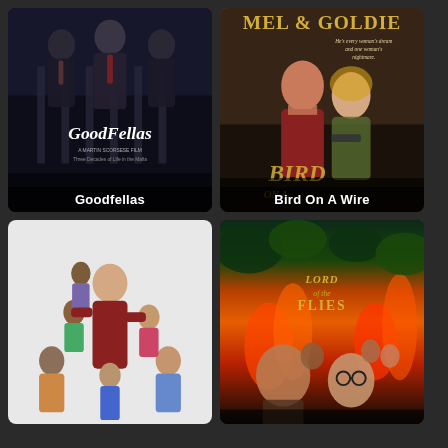[Figure (photo): Movie poster for Goodfellas showing men in suits with bold italic title text]
Goodfellas
[Figure (photo): Movie poster for Bird On A Wire with Mel Gibson and Goldie Hawn, text reads MEL & GOLDIE at top, He's every woman's dream and one woman's nightmare]
Bird On A Wire
[Figure (photo): Movie poster showing a man surrounded by many children climbing on him, white background]
[Figure (photo): Movie poster for Lord of the Flies with dramatic fire and jungle imagery and boys]